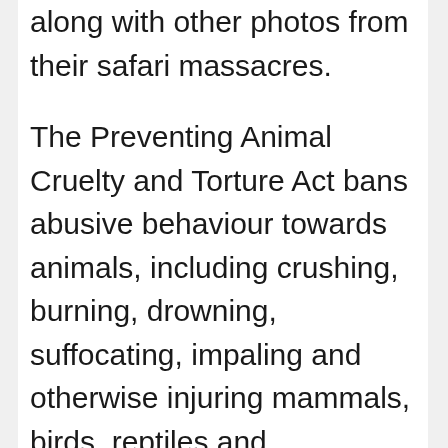along with other photos from their safari massacres.
The Preventing Animal Cruelty and Torture Act bans abusive behaviour towards animals, including crushing, burning, drowning, suffocating, impaling and otherwise injuring mammals, birds, reptiles and amphibians.
Mia Farrow, a vocal critic of Mr Trump, wrote to the president on